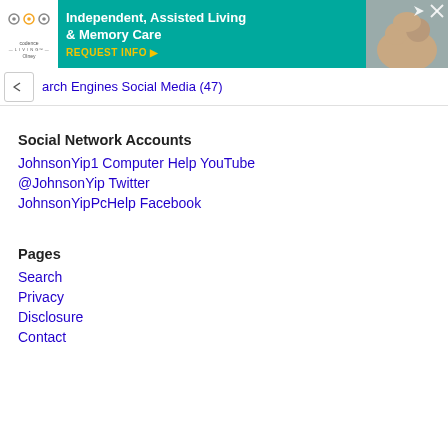[Figure (screenshot): Advertisement banner for Codence Living Olney - Independent, Assisted Living & Memory Care with teal background and photo of elderly couple]
arch Engines Social Media (47)
Social Network Accounts
JohnsonYip1 Computer Help YouTube
@JohnsonYip Twitter
JohnsonYipPcHelp Facebook
Pages
Search
Privacy
Disclosure
Contact